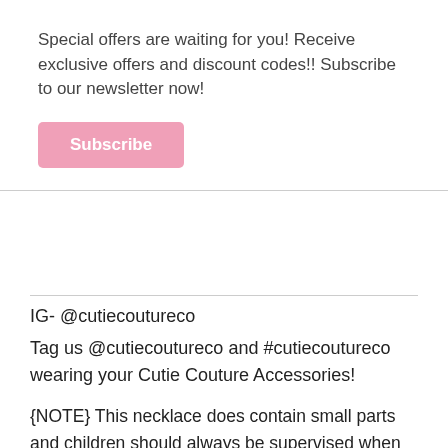Special offers are waiting for you! Receive exclusive offers and discount codes!! Subscribe to our newsletter now!
Subscribe
IG- @cutiecoutureco
Tag us @cutiecoutureco and #cutiecoutureco wearing your Cutie Couture Accessories!
{NOTE} This necklace does contain small parts and children should always be supervised when wearing them. Necklaces can pose choking/strangling hazards. And just like any necklace, it should be handled with care ♥
In the event that specific beads is out of stock, seller will recreate the necklace using similar color to make the necklace still the same. please pm me if you absolutely